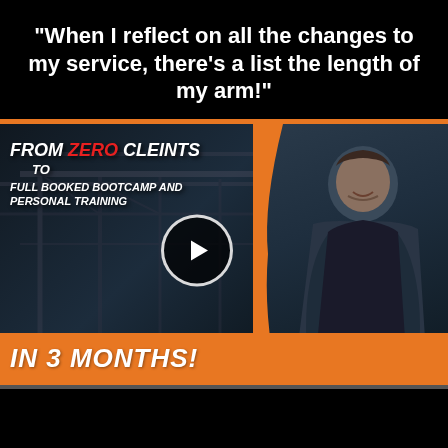"When I reflect on all the changes to my service, there's a list the length of my arm!"
[Figure (screenshot): Video thumbnail showing a fitness coach in a gym with text overlay: FROM ZERO CLIENTS TO FULL BOOKED BOOTCAMP AND PERSONAL TRAINING IN 3 MONTHS! with a play button in the center.]